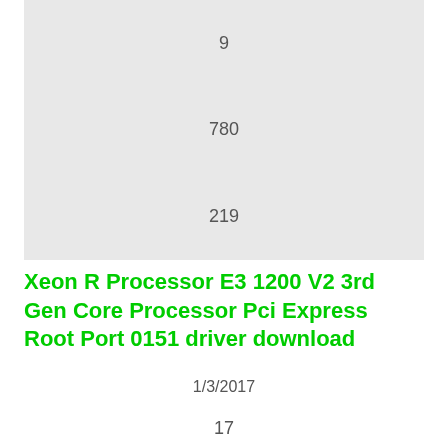[Figure (other): Gray box containing numbers 9, 780, and 219 spaced vertically]
Xeon R Processor E3 1200 V2 3rd Gen Core Processor Pci Express Root Port 0151 driver download
1/3/2017
17